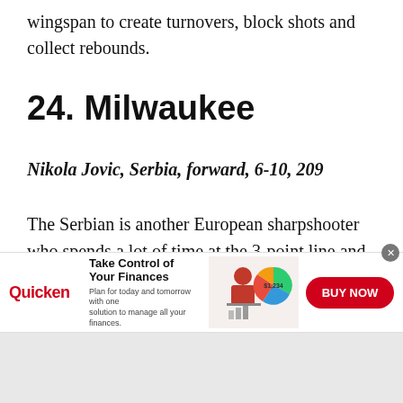wingspan to create turnovers, block shots and collect rebounds.
24. Milwaukee
Nikola Jovic, Serbia, forward, 6-10, 209
The Serbian is another European sharpshooter who spends a lot of time at the 3-point line and shot 35.6% from long range in the ABA pro league in 2021-22. He can also be a playmaker. At the start of the season, he received votes from NBA
[Figure (infographic): Quicken advertisement banner: Take Control of Your Finances. Plan for today and tomorrow with one solution to manage all your finances. BUY NOW button. Shows a woman working at a computer with a pie chart graphic.]